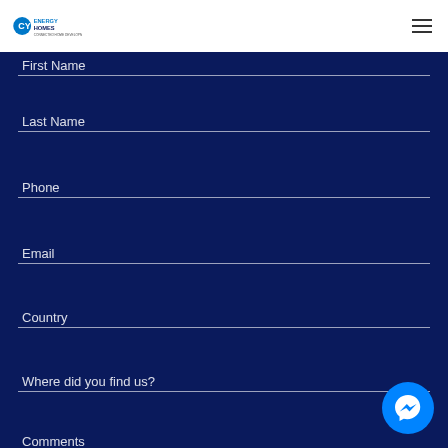Energy Homes
First Name
Last Name
Phone
Email
Country
Where did you find us?
Comments